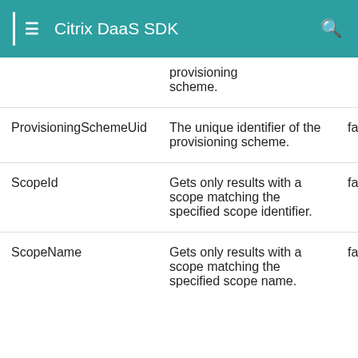Citrix DaaS SDK
|  | Description | Required |
| --- | --- | --- |
|  | provisioning scheme. |  |
| ProvisioningSchemeUid | The unique identifier of the provisioning scheme. | false |
| ScopeId | Gets only results with a scope matching the specified scope identifier. | false |
| ScopeName | Gets only results with a scope matching the specified scope name. | false |